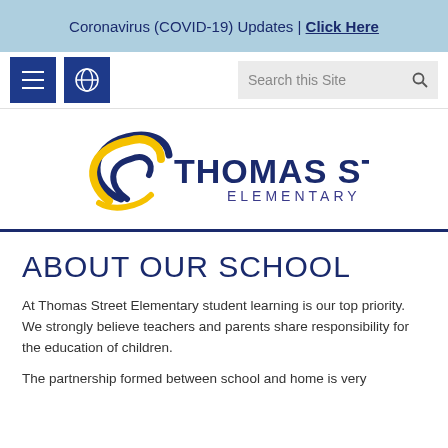Coronavirus (COVID-19) Updates | Click Here
[Figure (screenshot): Navigation bar with hamburger menu button, globe/language button, and search box labeled 'Search this Site']
[Figure (logo): Thomas Street Elementary school logo with yellow and blue swirl graphic and school name text]
ABOUT OUR SCHOOL
At Thomas Street Elementary student learning is our top priority. We strongly believe teachers and parents share responsibility for the education of children.
The partnership formed between school and home is very